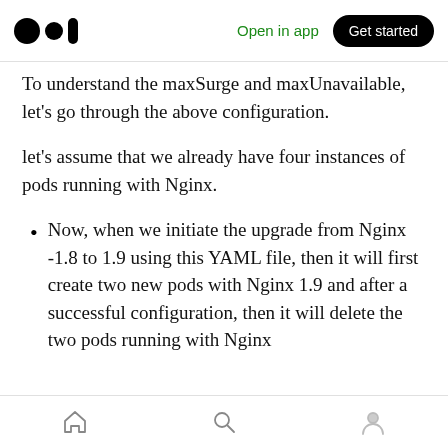Open in app  Get started
To understand the maxSurge and maxUnavailable, let’s go through the above configuration.
let’s assume that we already have four instances of pods running with Nginx.
Now, when we initiate the upgrade from Nginx -1.8 to 1.9 using this YAML file, then it will first create two new pods with Nginx 1.9 and after a successful configuration, then it will delete the two pods running with Nginx
home  search  profile